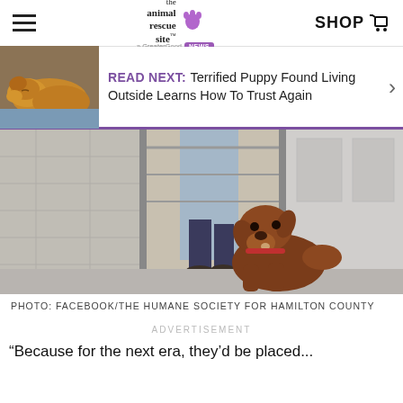the animal rescue site | SHOP
READ NEXT: Terrified Puppy Found Living Outside Learns How To Trust Again
[Figure (photo): A brown dog in a shelter kennel looking up at a person walking by. Concrete block walls and metal kennel gates visible in the background.]
PHOTO: FACEBOOK/THE HUMANE SOCIETY FOR HAMILTON COUNTY
ADVERTISEMENT
“Because for the next era, they’d be placed...